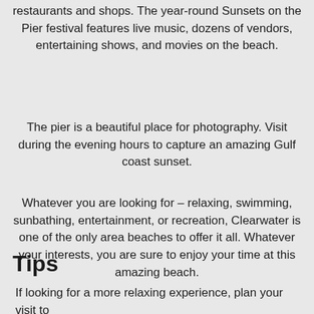restaurants and shops. The year-round Sunsets on the Pier festival features live music, dozens of vendors, entertaining shows, and movies on the beach.
The pier is a beautiful place for photography. Visit during the evening hours to capture an amazing Gulf coast sunset.
Whatever you are looking for – relaxing, swimming, sunbathing, entertainment, or recreation, Clearwater is one of the only area beaches to offer it all. Whatever your interests, you are sure to enjoy your time at this amazing beach.
Tips
If looking for a more relaxing experience, plan your visit to